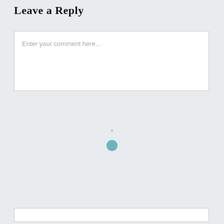Leave a Reply
Enter your comment here...
[Figure (other): Loading spinner with a small dot above and a teal/cyan filled circle below, centered on the page background]